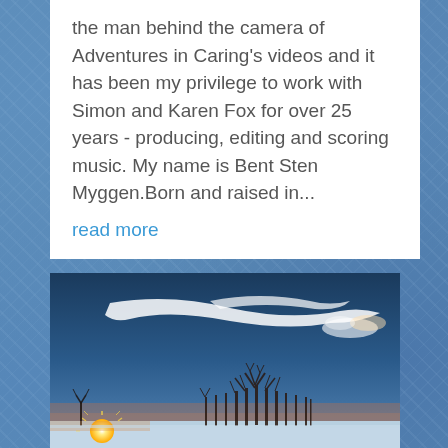the man behind the camera of Adventures in Caring's videos and it has been my privilege to work with Simon and Karen Fox for over 25 years - producing, editing and scoring music. My name is Bent Sten Myggen.Born and raised in...
read more
[Figure (photo): A winter sunset landscape photo showing bare trees silhouetted against a deep blue sky with wispy cirrus clouds. A bright orange-yellow sun is setting near the left horizon, casting warm light across a snow-covered flat landscape.]